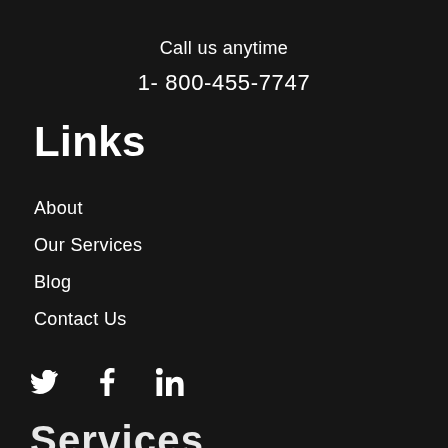Call us anytime
1- 800-455-7747
Links
About
Our Services
Blog
Contact Us
[Figure (other): Social media icons: Twitter (bird), Facebook (f), LinkedIn (in)]
Services (partially visible, cut off at bottom)